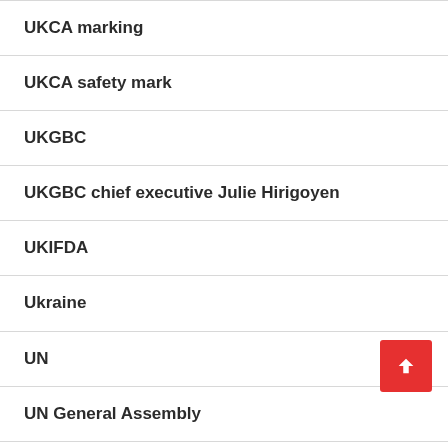UKCA marking
UKCA safety mark
UKGBC
UKGBC chief executive Julie Hirigoyen
UKIFDA
Ukraine
UN
UN General Assembly